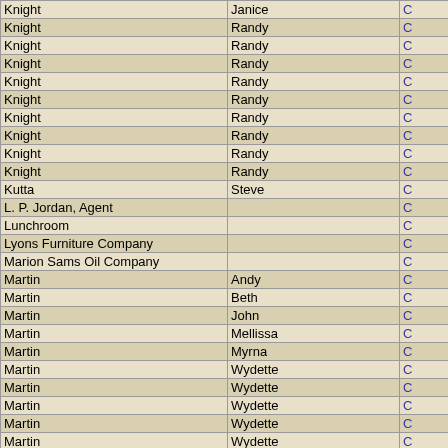| Last Name / Entity | First Name |  |
| --- | --- | --- |
| Knight | Janice | C |
| Knight | Randy | C |
| Knight | Randy | C |
| Knight | Randy | C |
| Knight | Randy | C |
| Knight | Randy | C |
| Knight | Randy | C |
| Knight | Randy | C |
| Knight | Randy | C |
| Knight | Randy | C |
| Kutta | Steve | C |
| L. P. Jordan, Agent |  | C |
| Lunchroom |  | C |
| Lyons Furniture Company |  | C |
| Marion Sams Oil Company |  | C |
| Martin | Andy | C |
| Martin | Beth | C |
| Martin | John | C |
| Martin | Mellissa | C |
| Martin | Myrna | C |
| Martin | Wydette | C |
| Martin | Wydette | C |
| Martin | Wydette | C |
| Martin | Wydette | C |
| Martin | Wydette | C |
| Mason | Elaine | C |
| Mason | Elaine | C |